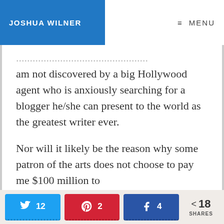JOSHUA WILNER | MENU
am not discovered by a big Hollywood agent who is anxiously searching for a blogger he/she can present to the world as the greatest writer ever.
Nor will it likely be the reason why some patron of the arts does not choose to pay me $100 million to
Twitter 12 | Pinterest 2 | Facebook 4 | 18 SHARES